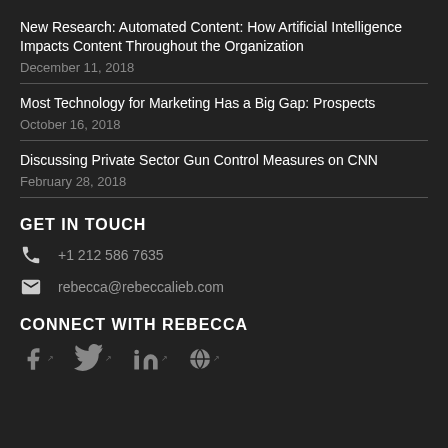New Research: Automated Content: How Artificial Intelligence Impacts Content Throughout the Organization
December 11, 2018
Most Technology for Marketing Has a Big Gap: Prospects
October 16, 2018
Discussing Private Sector Gun Control Measures on CNN
February 28, 2018
GET IN TOUCH
+1 212 586 7635
rebecca@rebeccalieb.com
CONNECT WITH REBECCA
[Figure (illustration): Social media icons: Facebook, Twitter, LinkedIn, and one more icon, each with external link markers]